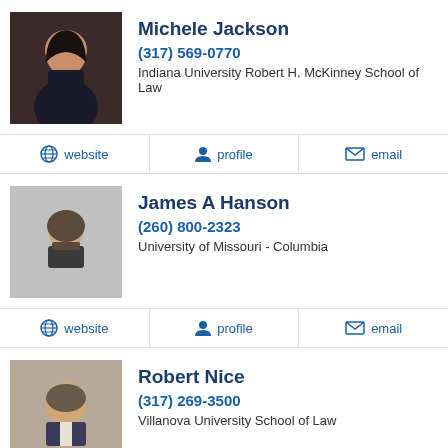Michele Jackson
(317) 569-0770
Indiana University Robert H. McKinney School of Law
website  profile  email
James A Hanson
(260) 800-2323
University of Missouri - Columbia
website  profile  email
Robert Nice
(317) 269-3500
Villanova University School of Law